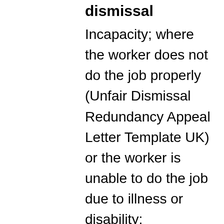dismissal
Incapacity; where the worker does not do the job properly (Unfair Dismissal Redundancy Appeal Letter Template UK) or the worker is unable to do the job due to illness or disability; retrenchment or redundancy; where the employer is cutting down on staff or restructuring the work and work of a particular kind has changed,